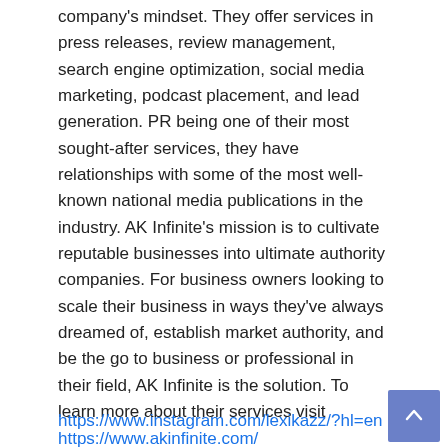company's mindset. They offer services in press releases, review management, search engine optimization, social media marketing, podcast placement, and lead generation. PR being one of their most sought-after services, they have relationships with some of the most well-known national media publications in the industry. AK Infinite's mission is to cultivate reputable businesses into ultimate authority companies. For business owners looking to scale their business in ways they've always dreamed of, establish market authority, and be the go to business or professional in their field, AK Infinite is the solution. To learn more about their services visit https://www.akinfinite.com/
https://www.instagram.com/lexikazz/?hl=en